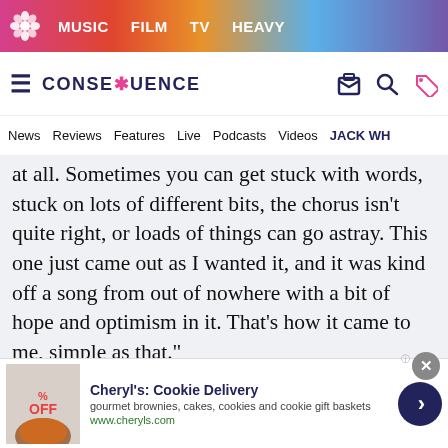MUSIC   FILM   TV   HEAVY
[Figure (logo): Consequence of Sound logo with hamburger menu and navigation icons]
News   Reviews   Features   Live   Podcasts   Videos   JACK WH...
at all. Sometimes you can get stuck with words, stuck on lots of different bits, the chorus isn't quite right, or loads of things can go astray. This one just came out as I wanted it, and it was kind off a song from out of nowhere with a bit of hope and optimism in it. That's how it came to me, simple as that."
Jeff Lynne's ELO's From Out of Nowhere
[Figure (other): Cheryl's Cookie Delivery advertisement banner with cookie image, title, description, and arrow button]